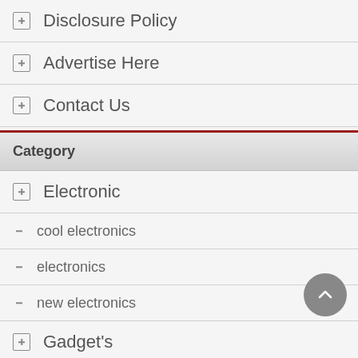Disclosure Policy
Advertise Here
Contact Us
Category
Electronic
cool electronics
electronics
new electronics
Gadget's
cool gadgets